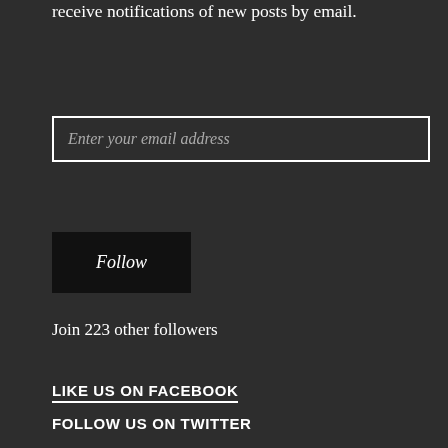Enter your email address to follow this blog and receive notifications of new posts by email.
Enter your email address
Follow
Join 223 other followers
LIKE US ON FACEBOOK
FOLLOW US ON TWITTER